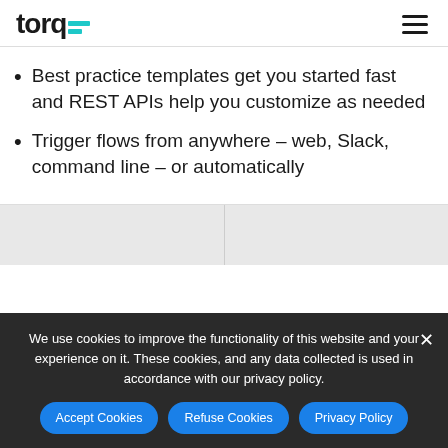torq [logo with teal bars] [hamburger menu]
Best practice templates get you started fast and REST APIs help you customize as needed
Trigger flows from anywhere – web, Slack, command line – or automatically
We use cookies to improve the functionality of this website and your experience on it. These cookies, and any data collected is used in accordance with our privacy policy.
Accept Cookies | Refuse Cookies | Privacy Policy